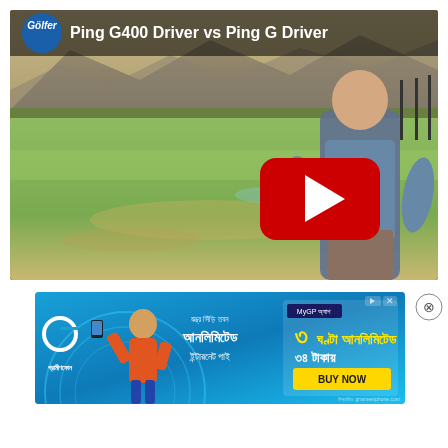[Figure (screenshot): YouTube video thumbnail showing 'Ping G400 Driver vs Ping G Driver' with Golfer logo, a man standing on a golf course/driving range with mountains in background and a red YouTube play button overlay]
[Figure (screenshot): Advertisement banner for Grameenphone (GP) mobile data offer showing a person, Bengali text for unlimited internet, MyGP app label, '3 hours unlimited - 34 Taka' offer with BUY NOW button]